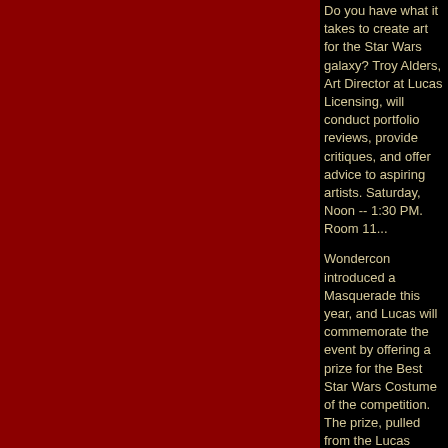Do you have what it takes to create art for the Star Wars galaxy? Troy Alders, Art Director at Lucas Licensing, will conduct portfolio reviews, provide critiques, and offer advice to aspiring artists. Saturday, Noon -- 1:30 PM. Room 11...
Wondercon introduced a Masquerade this year, and Lucas will commemorate the event by offering a prize for the Best Star Wars Costume of the competition. The prize, pulled from the Lucas Licensing Archives, is a treasure particularly appropriate in this year of the Sith. Saturday, 7:30 PM. Rooms 130-131
See the best Star Wars Fan Films. Lucasfilm will present the 2004 winners of the Star Wars Fan Film Awards, plus the Top Ten Star Wars Fan Films of all time, based on their number of viewings at atomfilms.com. Saturday, 9:30 PM. Room...
More for Star Wars Fans at Wondercon:
Peter Mayhew (Chewbacca, original trilogy and Revenge of the Sith), Ray Park (Darth Maul, The Phantom Menace), Daniel Logan (Young Boba Fett, Attack of the Clones) will be signing autographs at Wondercon. In the exhibit hall look for Bay area Star Wars fan groups, including the Golden Gate Garrison of the 501st Imperial costuming club, and the Bay Star Wars Fan Club.
Posted by: